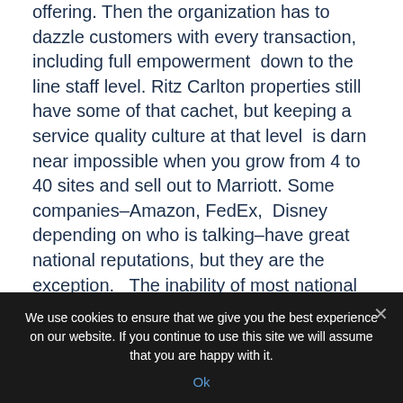offering. Then the organization has to dazzle customers with every transaction, including full empowerment down to the line staff level. Ritz Carlton properties still have some of that cachet, but keeping a service quality culture at that level is darn near impossible when you grow from 4 to 40 sites and sell out to Marriott. Some companies–Amazon, FedEx, Disney depending on who is talking–have great national reputations, but they are the exception. The inability of most national brands to deliver great customer service is an opportunity for small businesses. Your takeaway as a small business leader is to make customer service a differentiator. If you
We use cookies to ensure that we give you the best experience on our website. If you continue to use this site we will assume that you are happy with it.
Ok